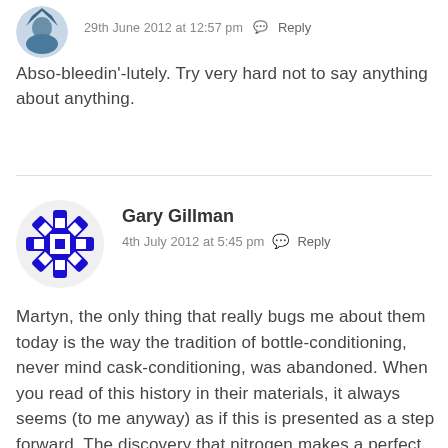29th June 2012 at 12:57 pm  Reply
Abso-bleedin'-lutely. Try very hard not to say anything about anything.
Gary Gillman
4th July 2012 at 5:45 pm  Reply
Martyn, the only thing that really bugs me about them today is the way the tradition of bottle-conditioning, never mind cask-conditioning, was abandoned. When you read of this history in their materials, it always seems (to me anyway) as if this is presented as a step forward. The discovery that nitrogen makes a perfect addition to beer gas since it won't